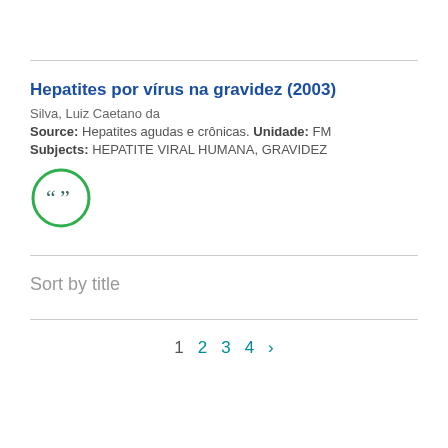Hepatites por vírus na gravidez (2003)
Silva, Luiz Caetano da
Source: Hepatites agudas e crônicas. Unidade: FM
Subjects: HEPATITE VIRAL HUMANA, GRAVIDEZ
[Figure (illustration): Quotation mark icon inside a green circle]
Sort by title
1  2  3  4  >